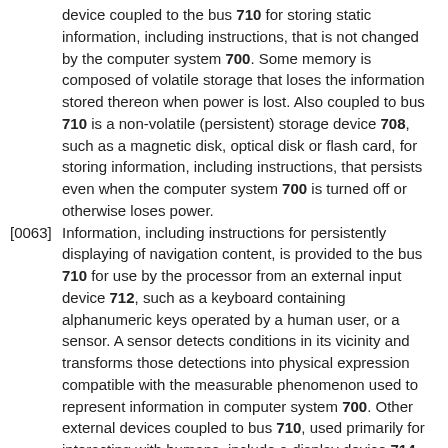device coupled to the bus 710 for storing static information, including instructions, that is not changed by the computer system 700. Some memory is composed of volatile storage that loses the information stored thereon when power is lost. Also coupled to bus 710 is a non-volatile (persistent) storage device 708, such as a magnetic disk, optical disk or flash card, for storing information, including instructions, that persists even when the computer system 700 is turned off or otherwise loses power.
[0063] Information, including instructions for persistently displaying of navigation content, is provided to the bus 710 for use by the processor from an external input device 712, such as a keyboard containing alphanumeric keys operated by a human user, or a sensor. A sensor detects conditions in its vicinity and transforms those detections into physical expression compatible with the measurable phenomenon used to represent information in computer system 700. Other external devices coupled to bus 710, used primarily for interacting with humans, include a display device 714, such